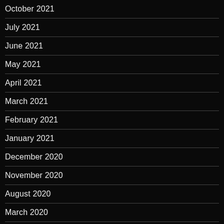October 2021
July 2021
June 2021
May 2021
April 2021
March 2021
February 2021
January 2021
December 2020
November 2020
August 2020
March 2020
February 2020